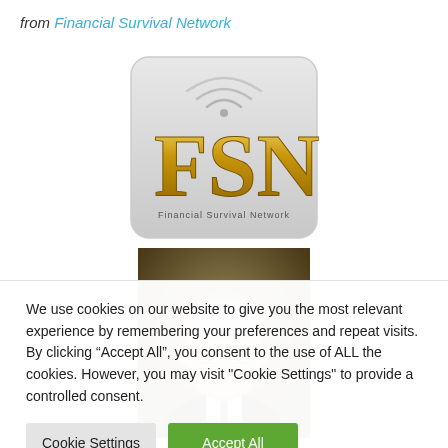from Financial Survival Network
[Figure (logo): FSN Financial Survival Network logo with wifi signal icon and gold/silver stylized letters]
[Figure (photo): Professional headshot of Arch Crawford, an older man with glasses wearing a dark suit]
Arch Crawford has made some amazing calls over the years. By his
We use cookies on our website to give you the most relevant experience by remembering your preferences and repeat visits. By clicking "Accept All", you consent to the use of ALL the cookies. However, you may visit "Cookie Settings" to provide a controlled consent.